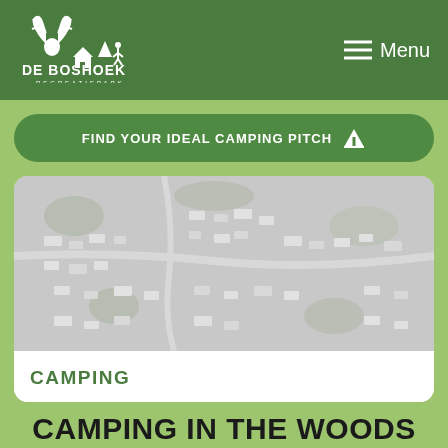[Figure (logo): De Boshoek Recreatiepark logo with white deer, house and tree icons on green background]
Menu
FIND YOUR IDEAL CAMPING PITCH
[Figure (photo): Aerial view of a campsite with caravans and tents among trees, shown in muted gray tones]
CAMPING
CAMPING IN THE WOODS